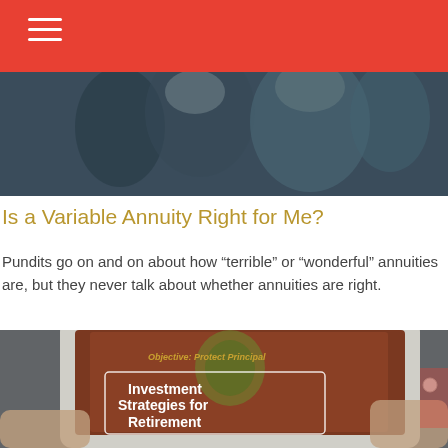[Figure (photo): Header photo showing people in a group, dark tones, partial view.]
Is a Variable Annuity Right for Me?
Pundits go on and on about how “terrible” or “wonderful” annuities are, but they never talk about whether annuities are right.
[Figure (photo): Photo of hands holding a tablet displaying 'Objective: Protect Principal' and 'Investment Strategies for Retirement' on a brown/orange card with a shield graphic.]